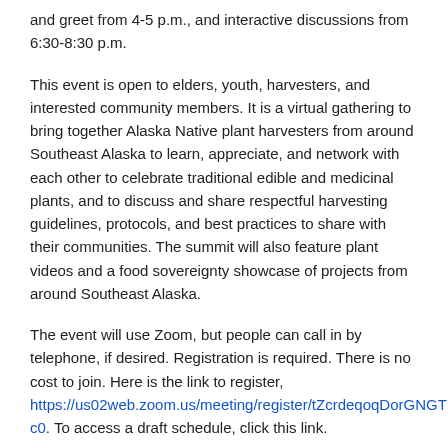and greet from 4-5 p.m., and interactive discussions from 6:30-8:30 p.m.
This event is open to elders, youth, harvesters, and interested community members. It is a virtual gathering to bring together Alaska Native plant harvesters from around Southeast Alaska to learn, appreciate, and network with each other to celebrate traditional edible and medicinal plants, and to discuss and share respectful harvesting guidelines, protocols, and best practices to share with their communities. The summit will also feature plant videos and a food sovereignty showcase of projects from around Southeast Alaska.
The event will use Zoom, but people can call in by telephone, if desired. Registration is required. There is no cost to join. Here is the link to register, https://us02web.zoom.us/meeting/register/tZcrdeqoqDorGNGTDAXc0. To access a draft schedule, click this link.